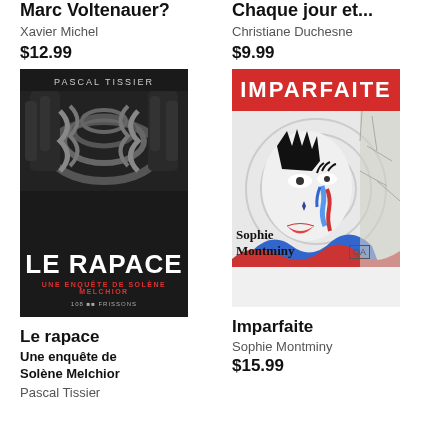Marc Voltenauer?
Xavier Michel
$12.99
Chaque jour et...
Christiane Duchesne
$9.99
[Figure (photo): Book cover of Le Rapace by Pascal Tissier — dark background with rope/hands image, bold white title LE RAPACE, red subtitle UNE ENQUÊTE DE SOLÈNE MELCHIOR]
[Figure (photo): Book cover of Imparfaite by Sophie Montminy — red banner at top with white bold text IMPARFAITE, colorful face illustration below, author name Sophie Montminy]
Le rapace
Une enquête de Solène Melchior
Pascal Tissier
Imparfaite
Sophie Montminy
$15.99